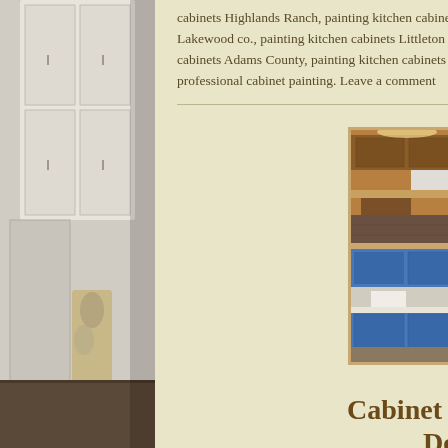cabinets Highlands Ranch, painting kitchen cabinets Jefferson County, painting kitchen cabinets Lakewood co., painting kitchen cabinets Littleton Colorado, painting kitchen cabinets painting kitchen cabinets Adams County, painting kitchen cabinets Parker, painting kitchen cabinets Thornton co., professional cabinet painting. Leave a comment
[Figure (photo): 2x2 grid of kitchen before/after photos showing cabinets — top row shows dark wood cabinets in a kitchen, bottom row shows blue painted cabinets in a kitchen]
Cabinet Refinishing Denver
Published July 26, 2022